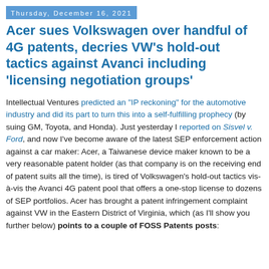Thursday, December 16, 2021
Acer sues Volkswagen over handful of 4G patents, decries VW's hold-out tactics against Avanci including 'licensing negotiation groups'
Intellectual Ventures predicted an "IP reckoning" for the automotive industry and did its part to turn this into a self-fulfilling prophecy (by suing GM, Toyota, and Honda). Just yesterday I reported on Sisvel v. Ford, and now I've become aware of the latest SEP enforcement action against a car maker: Acer, a Taiwanese device maker known to be a very reasonable patent holder (as that company is on the receiving end of patent suits all the time), is tired of Volkswagen's hold-out tactics vis-à-vis the Avanci 4G patent pool that offers a one-stop license to dozens of SEP portfolios. Acer has brought a patent infringement complaint against VW in the Eastern District of Virginia, which (as I'll show you further below) points to a couple of FOSS Patents posts: